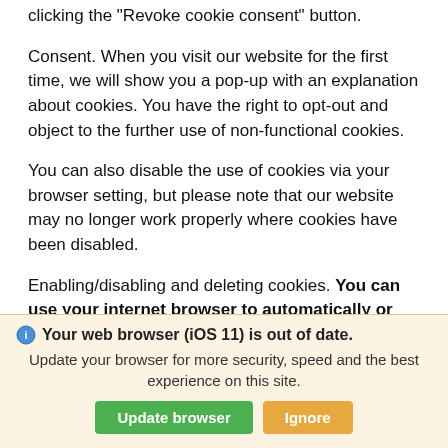You can object to this tracking by those cookies by clicking the "Revoke cookie consent" button.
Consent. When you visit our website for the first time, we will show you a pop-up with an explanation about cookies. You have the right to opt-out and object to the further use of non-functional cookies.
You can also disable the use of cookies via your browser setting, but please note that our website may no longer work properly where cookies have been disabled.
Enabling/disabling and deleting cookies. You can use your internet browser to automatically or manually delete cookies. You can also specify that certain cookies may not be placed. Another option is to change the settings of your internet browser so that you receive a message each time a cookie is placed.
[Figure (screenshot): Browser update notification overlay banner with title 'Your web browser (iOS 11) is out of date.', body text 'Update your browser for more security, speed and the best experience on this site.', and two buttons: 'Update browser' (green) and 'Ignore' (orange/yellow).]